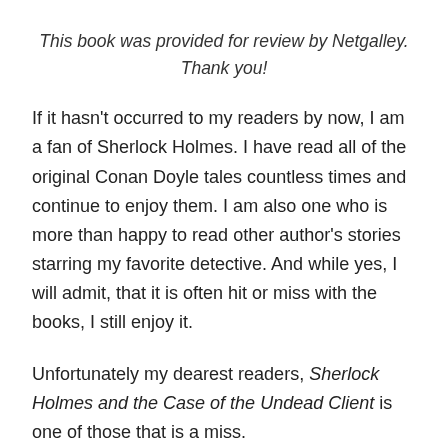This book was provided for review by Netgalley. Thank you!
If it hasn't occurred to my readers by now, I am a fan of Sherlock Holmes. I have read all of the original Conan Doyle tales countless times and continue to enjoy them. I am also one who is more than happy to read other author's stories starring my favorite detective. And while yes, I will admit, that it is often hit or miss with the books, I still enjoy it.
Unfortunately my dearest readers, Sherlock Holmes and the Case of the Undead Client is one of those that is a miss.
A great majority of readers are familiar with fan-fiction, and